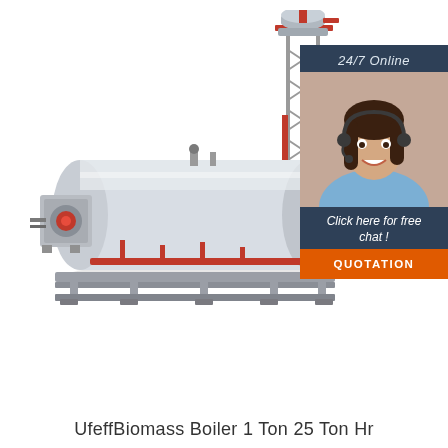[Figure (photo): Industrial biomass boiler system with horizontal cylindrical vessel, red piping, metal frame base, and vertical tower structure with separator tank at top. On the right side there is a customer service chat widget overlay with a woman wearing a headset, '24/7 Online' text, 'Click here for free chat!' text, and an orange 'QUOTATION' button on a dark navy background.]
UfeffBiomass Boiler 1 Ton 25 Ton Hr